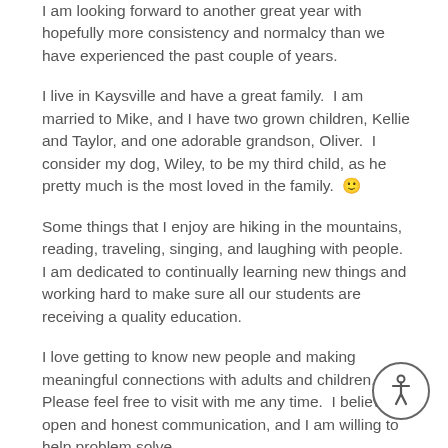I am looking forward to another great year with hopefully more consistency and normalcy than we have experienced the past couple of years.
I live in Kaysville and have a great family.  I am married to Mike, and I have two grown children, Kellie and Taylor, and one adorable grandson, Oliver.  I consider my dog, Wiley, to be my third child, as he pretty much is the most loved in the family.  😊
Some things that I enjoy are hiking in the mountains, reading, traveling, singing, and laughing with people.  I am dedicated to continually learning new things and working hard to make sure all our students are receiving a quality education.
I love getting to know new people and making meaningful connections with adults and children.  Please feel free to visit with me any time.  I believe in open and honest communication, and I am willing to help problem solve